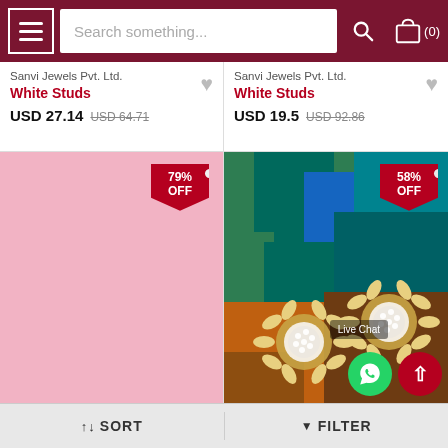[Figure (screenshot): E-commerce website header with hamburger menu, search bar, search button, and shopping cart icon showing (0) items]
Sanvi Jewels Pvt. Ltd.
White Studs
USD 27.14  USD 64.71
Sanvi Jewels Pvt. Ltd.
White Studs
USD 19.5  USD 92.86
[Figure (other): Pink background product image area with 79% OFF discount badge]
[Figure (photo): Crystal/diamond floral stud earrings on peacock feather background with 58% OFF discount badge, Live Chat button, WhatsApp button, and scroll-to-top button]
↑↓ SORT
▼ FILTER